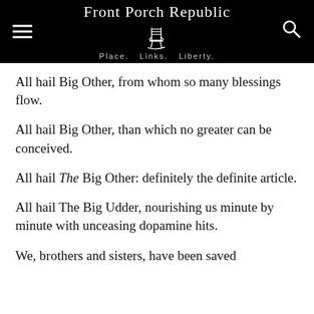Front Porch Republic · Place. Links. Liberty.
All hail Big Other, from whom so many blessings flow.
All hail Big Other, than which no greater can be conceived.
All hail The Big Other: definitely the definite article.
All hail The Big Udder, nourishing us minute by minute with unceasing dopamine hits.
We, brothers and sisters, have been saved